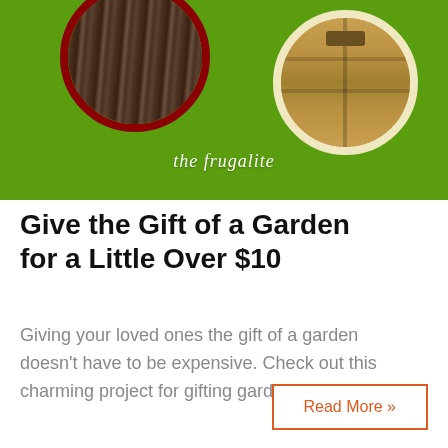[Figure (photo): Green background with circular images — one showing dark wooden surface with red circle border (left), another showing wooden box with cream border (right). Text 'the frugalite' in white italic script at bottom center of green area.]
Give the Gift of a Garden for a Little Over $10
Giving your loved ones the gift of a garden doesn't have to be expensive. Check out this charming project for gifting garden seeds.
Read More »